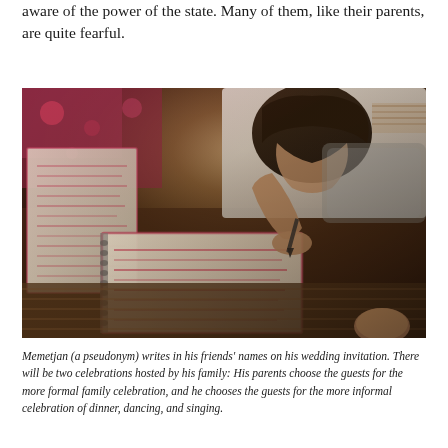aware of the power of the state. Many of them, like their parents, are quite fearful.
[Figure (photo): A young man leaning over books or notebooks, writing with a pen. Religious or decorative texts visible on the pages with red/pink script. The scene is set on a patterned fabric surface.]
Memetjan (a pseudonym) writes in his friends' names on his wedding invitation. There will be two celebrations hosted by his family: His parents choose the guests for the more formal family celebration, and he chooses the guests for the more informal celebration of dinner, dancing, and singing.